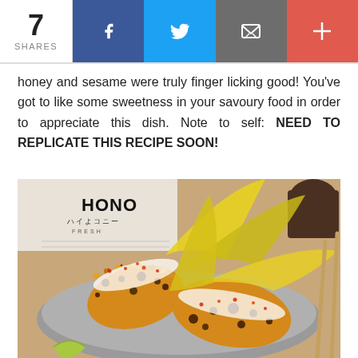7 SHARES | Facebook | Twitter | Email | More
honey and sesame were truly finger licking good! You've got to like some sweetness in your savoury food in order to appreciate this dish. Note to self: NEED TO REPLICATE THIS RECIPE SOON!
[Figure (photo): Two grilled corn cobs topped with white powder (likely cotija cheese), red chili flakes, and black sesame, served in a metal bowl with yellow corn husks, on a wooden table. A paper bag with 'HONO' branding visible in background.]